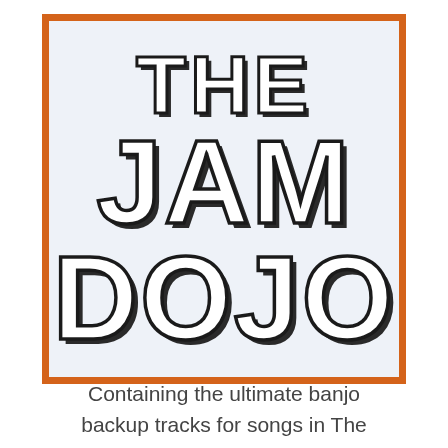[Figure (logo): The Jam Dojo logo: large bold outlined text on a light blue-gray background with an orange border. Text reads 'THE JAM DOJO' in three lines with drop-shadow outline style lettering.]
Containing the ultimate banjo backup tracks for songs in The